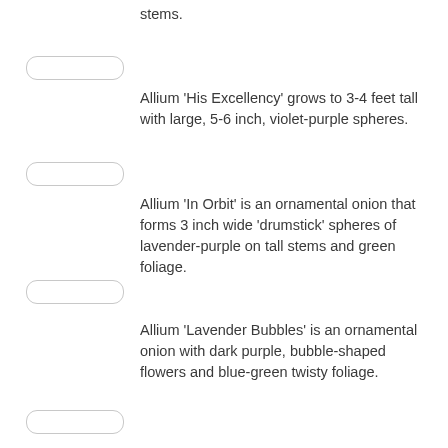stems.
[Figure (other): Rounded pill/badge placeholder element]
Allium ‘His Excellency’ grows to 3-4 feet tall with large, 5-6 inch, violet-purple spheres.
[Figure (other): Rounded pill/badge placeholder element]
Allium ‘In Orbit’ is an ornamental onion that forms 3 inch wide ‘drumstick’ spheres of lavender-purple on tall stems and green foliage.
[Figure (other): Rounded pill/badge placeholder element]
Allium ‘Lavender Bubbles’ is an ornamental onion with dark purple, bubble-shaped flowers and blue-green twisty foliage.
[Figure (other): Rounded pill/badge placeholder element]
Allium ‘Lucy Ball’ has huge, tightly packed 6 inch wide flower heads hover above the summer garden.
[Figure (other): Rounded pill/badge placeholder element]